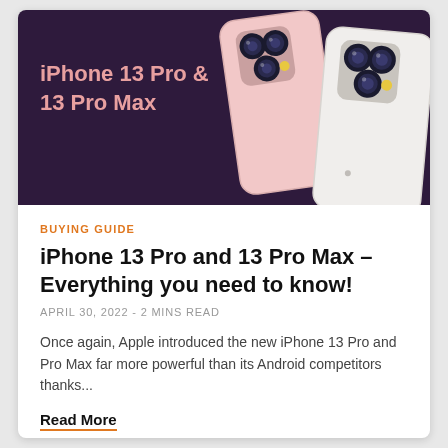[Figure (illustration): Dark purple banner with text 'iPhone 13 Pro & 13 Pro Max' in pink/salmon color on the left, and two iPhone 13 Pro devices shown from the back on the right — one pink and one white — displaying triple camera systems.]
BUYING GUIDE
iPhone 13 Pro and 13 Pro Max – Everything you need to know!
APRIL 30, 2022 - 2 MINS READ
Once again, Apple introduced the new iPhone 13 Pro and Pro Max far more powerful than its Android competitors thanks...
Read More